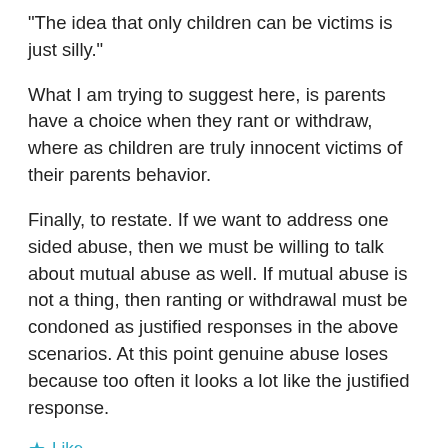“The idea that only children can be victims is just silly.”
What I am trying to suggest here, is parents have a choice when they rant or withdraw, where as children are truly innocent victims of their parents behavior.
Finally, to restate. If we want to address one sided abuse, then we must be willing to talk about mutual abuse as well. If mutual abuse is not a thing, then ranting or withdrawal must be condoned as justified responses in the above scenarios. At this point genuine abuse loses because too often it looks a lot like the justified response.
Like